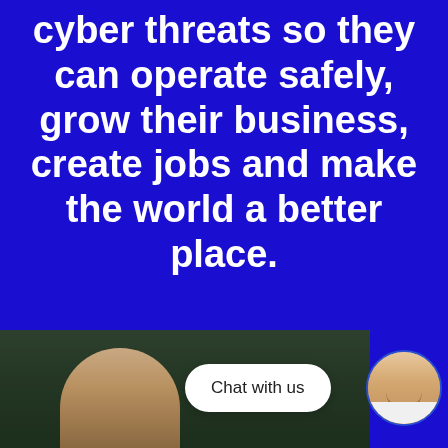cyber threats so they can operate safely, grow their business, create jobs and make the world a better place.
[Figure (photo): Bottom portion of page showing a photo of a person (woman with glasses) on the left, a white 'Chat with us' chat bubble in the center, and a circular avatar photo of a smiling man on the right, all on a dark blue background.]